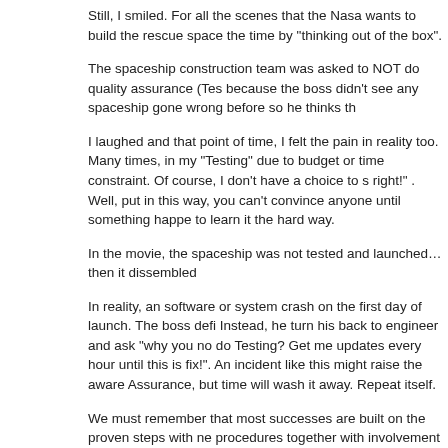Still, I smiled. For all the scenes that the Nasa wants to build the rescue space the time by "thinking out of the box".
The spaceship construction team was asked to NOT do quality assurance (Tes because the boss didn't see any spaceship gone wrong before so he thinks th
I laughed and that point of time, I felt the pain in reality too. Many times, in my "Testing" due to budget or time constraint. Of course, I don't have a choice to s right!" . Well, put in this way, you can't convince anyone until something happe to learn it the hard way.
In the movie, the spaceship was not tested and launched… then it dissembled
In reality, an software or system crash on the first day of launch. The boss defi Instead, he turn his back to engineer and ask "why you no do Testing? Get me updates every hour until this is fix!". An incident like this might raise the aware Assurance, but time will wash it away. Repeat itself.
We must remember that most successes are built on the proven steps with ne procedures together with involvement of many parties to compliment each oth something / someone isn't necessary, think twice, because some roles are me contribute until something happen, so often their value / existence are being ig
I always remind myself, necessity is always important. But not all important thi
Got it?